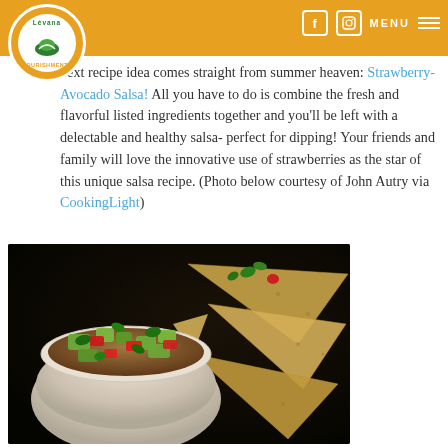Levana Nourishments - navigation header with logo, Facebook and Instagram icons, MENU
next recipe idea comes straight from summer heaven: Strawberry-Avocado Salsa! All you have to do is combine the fresh and flavorful listed ingredients together and you'll be left with a delectable and healthy salsa- perfect for dipping! Your friends and family will love the innovative use of strawberries as the star of this unique salsa recipe. (Photo below courtesy of John Autry via CookingLight)
[Figure (photo): A bowl of Strawberry-Avocado Salsa with diced avocado, strawberries, and cilantro, accompanied by triangular tortilla chips on a dark background]